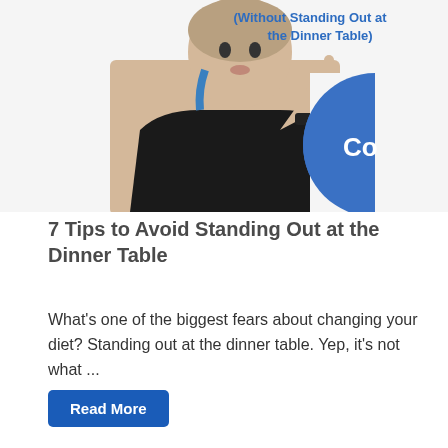[Figure (photo): A woman in a black athletic tank top with finger to her lips in a 'shh' gesture, with a blue circular logo element overlapping. Text overlay reads '(Without Standing Out at the Dinner Table)' in blue.]
7 Tips to Avoid Standing Out at the Dinner Table
What's one of the biggest fears about changing your diet? Standing out at the dinner table. Yep, it's not what ...
Read More